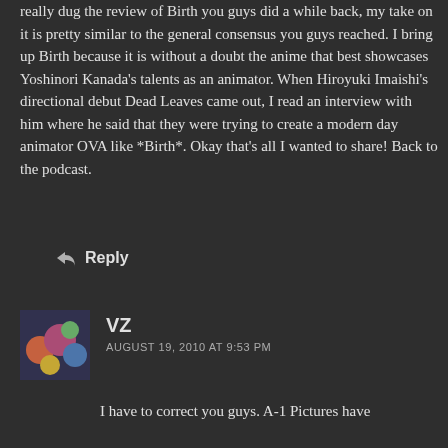really dug the review of Birth you guys did a while back, my take on it is pretty similar to the general consensus you guys reached. I bring up Birth because it is without a doubt the anime that best showcases Yoshinori Kanada's talents as an animator. When Hiroyuki Imaishi's directional debut Dead Leaves came out, I read an interview with him where he said that they were trying to create a modern day animator OVA like *Birth*. Okay that's all I wanted to share! Back to the podcast.
Reply
VZ
AUGUST 19, 2010 AT 9:53 PM
I have to correct you guys. A-1 Pictures have